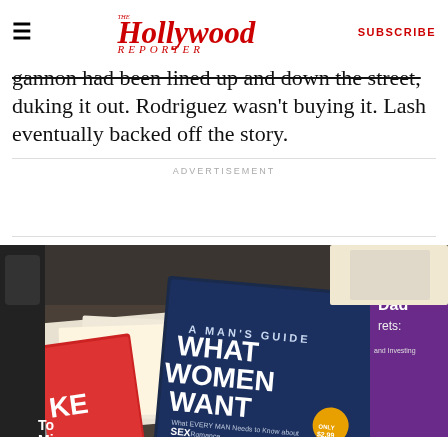The Hollywood Reporter | SUBSCRIBE
gannon had been lined up and down the street, duking it out. Rodriguez wasn't buying it. Lash eventually backed off the story.
ADVERTISEMENT
[Figure (photo): A desk cluttered with books. The most prominent book in the center has a dark blue cover titled 'WHAT WOMEN WANT' with subtitle 'What EVERY MAN Needs to Know about SEX Romance, Passion, and Pleasure'. Other books and magazines are visible around it, including one partially visible that says 'Dad' and 'rets:' and another with 'KE'. The scene appears messy and informal.]